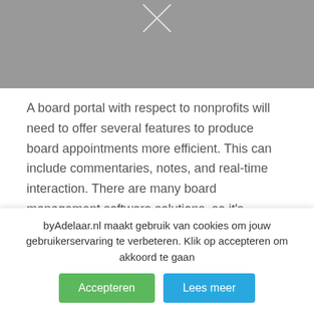[Figure (photo): Gray image placeholder at the top of the page, partially visible]
A board portal with respect to nonprofits will need to offer several features to produce board appointments more efficient. This can include commentaries, notes, and real-time interaction. There are many board management software solutions, so it's extremely important to choose a approach that offers the characteristics you need the majority of. While many alternatives
byAdelaar.nl maakt gebruik van cookies om jouw gebruikerservaring te verbeteren. Klik op accepteren om akkoord te gaan
Accepteren
Lees meer